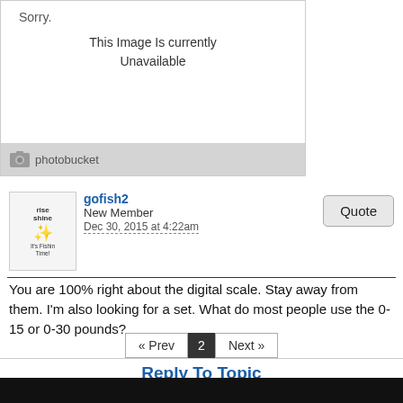[Figure (other): Photobucket image unavailable placeholder showing 'Sorry. This Image Is Currently Unavailable' with photobucket logo bar]
gofish2
New Member
Dec 30, 2015 at 4:22am
You are 100% right about the digital scale. Stay away from them. I'm also looking for a set. What do most people use the 0-15 or 0-30 pounds?
« Prev | 2 | Next »
Reply To Topic
Click here to remove banner ads from this forum.
This Forum Is Hosted For FREE By ProBoards
Get Your Own Free Forum!
Terms of Service · Privacy · Cookies · FTC Disclosure · Report Abuse · Do Not Sell My Personal Information